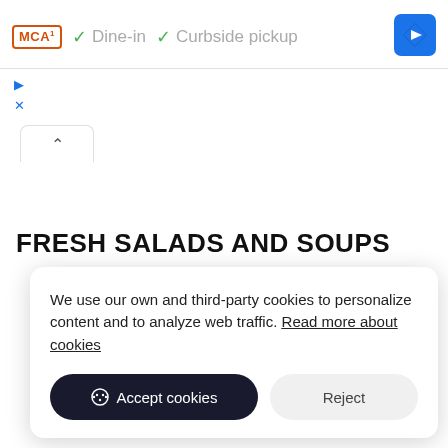[Figure (screenshot): McDonald's logo in orange border, checkmarks for Dine-in and Curbside pickup, and a blue navigation diamond icon in the top bar]
[Figure (screenshot): Blue triangular play icon and X icon, small UI controls]
[Figure (screenshot): Collapse/chevron up button tab]
FRESH SALADS AND SOUPS
We use our own and third-party cookies to personalize content and to analyze web traffic. Read more about cookies
[Figure (screenshot): Accept cookies and Reject buttons in cookie consent dialog]